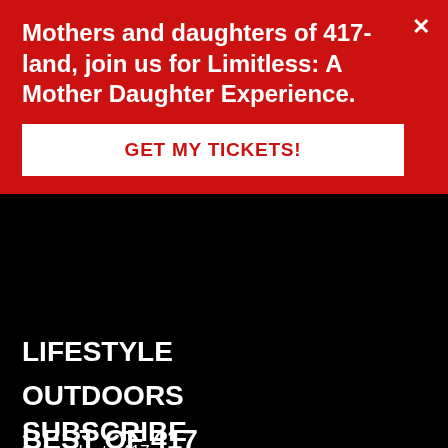Mothers and daughters of 417-land, join us for Limitless: A Mother Daughter Experience.
GET MY TICKETS!
LIFESTYLE
OUTDOORS
BEST OF 417
PEOPLE
LONGFORM
CALENDAR
SUBSCRIBE
Subscribe to 417